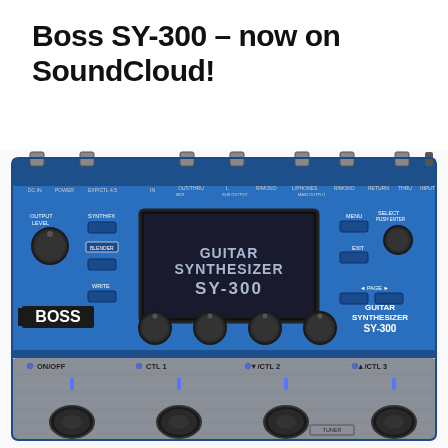Boss SY-300 – now on SoundCloud!
[Figure (photo): Photo of the Boss SY-300 Guitar Synthesizer pedal unit, showing blue metal chassis with knobs, display screen reading 'GUITAR SYNTHESIZER SY-300', BOSS logo, and four footswitches labeled ON/OFF, CTL 1, down/CTL 2, up/CTL 3]